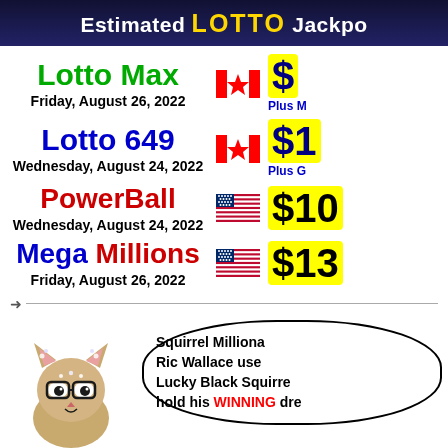Estimated LOTTO Jackpo[t]
Lotto Max
Friday, August 26, 2022
Lotto 649
Wednesday, August 24, 2022
PowerBall
Wednesday, August 24, 2022
Mega Millions
Friday, August 26, 2022
[Figure (illustration): Squirrel Millionaire mascot (cat/squirrel with glasses and rhinestones) with speech bubble: Squirrel Millionaire Ric Wallace used Lucky Black Squirrel to hold his WINNING dre[am]]
Squirrel Milliona[ire] Ric Wallace use[d] Lucky Black Squirrel [to] hold his WINNING dre[am]